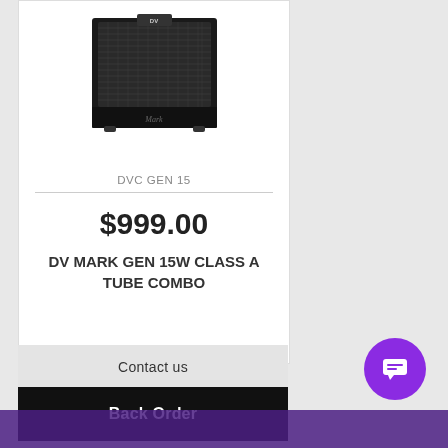[Figure (photo): DV Mark guitar combo amplifier, black rectangular cabinet with speaker grille]
DVC GEN 15
$999.00
DV MARK GEN 15W CLASS A TUBE COMBO
Contact us
Back Order